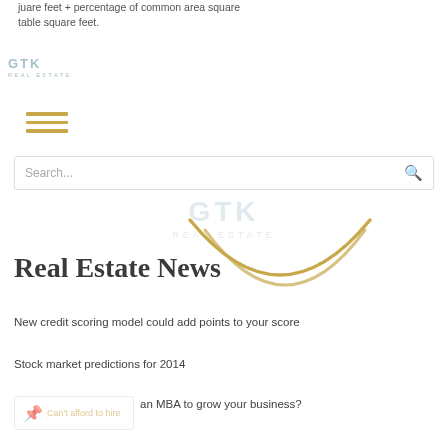juare feet + percentage of common area square table square feet.
[Figure (logo): GTK Real Estate logo, top left, light blue/grey color]
[Figure (illustration): Hamburger menu icon with three horizontal gold/amber lines]
Search...
[Figure (logo): GTK Real Estate watermark logo centered, faded]
[Figure (illustration): Decorative gold arc/swoosh graphic]
Real Estate News
New credit scoring model could add points to your score
Stock market predictions for 2014
Can't afford to hire an MBA to grow your business?